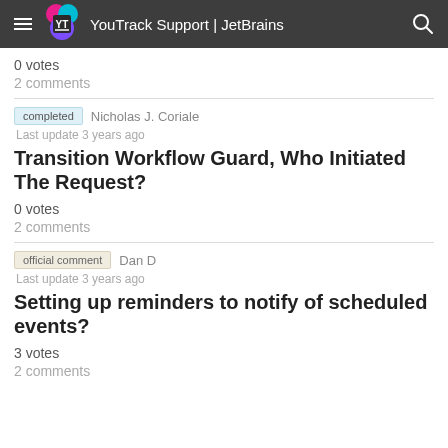YouTrack Support | JetBrains
0 votes
2 comments
completed  Nicholas J. Coriale
Last update 3 years ago
Transition Workflow Guard, Who Initiated The Request?
0 votes
2 comments
official comment  Dan D
Last update 3 years ago
Setting up reminders to notify of scheduled events?
3 votes
2 comments